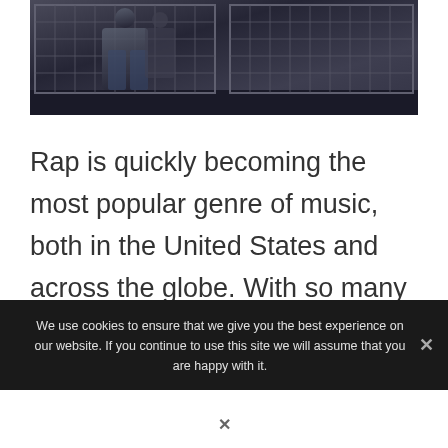[Figure (photo): Dark photograph showing people behind metal wire mesh fence/cage structures, dimly lit scene with industrial barriers]
Rap is quickly becoming the most popular genre of music, both in the United States and across the globe. With so many new rappers emerging on the scene, several are
We use cookies to ensure that we give you the best experience on our website. If you continue to use this site we will assume that you are happy with it.